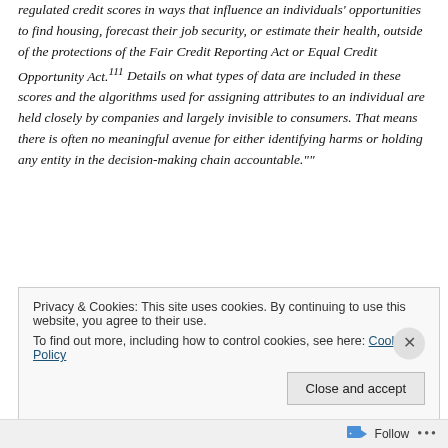regulated credit scores in ways that influence an individuals' opportunities to find housing, forecast their job security, or estimate their health, outside of the protections of the Fair Credit Reporting Act or Equal Credit Opportunity Act.111 Details on what types of data are included in these scores and the algorithms used for assigning attributes to an individual are held closely by companies and largely invisible to consumers. That means there is often no meaningful avenue for either identifying harms or holding any entity in the decision-making chain accountable.""
Privacy & Cookies: This site uses cookies. By continuing to use this website, you agree to their use.
To find out more, including how to control cookies, see here: Cookie Policy
Close and accept
Follow ···